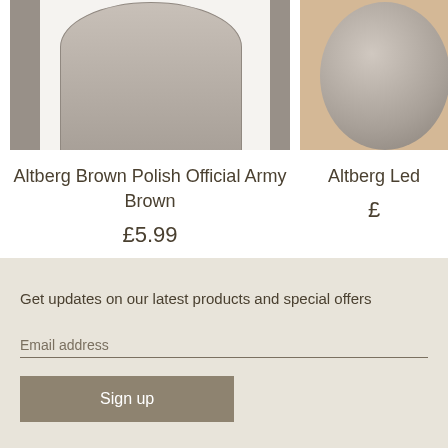[Figure (photo): Product image of Altberg Brown Polish Official Army Brown tin, partially cropped, with gray side panels visible]
Altberg Brown Polish Official Army Brown
£5.99
[Figure (photo): Partially visible product image on the right side, cropped]
Altberg Led
£
Get updates on our latest products and special offers
Email address
Sign up